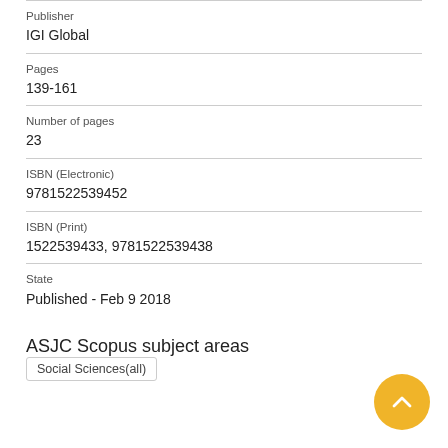Publisher
IGI Global
Pages
139-161
Number of pages
23
ISBN (Electronic)
9781522539452
ISBN (Print)
1522539433, 9781522539438
State
Published - Feb 9 2018
ASJC Scopus subject areas
Social Sciences(all)